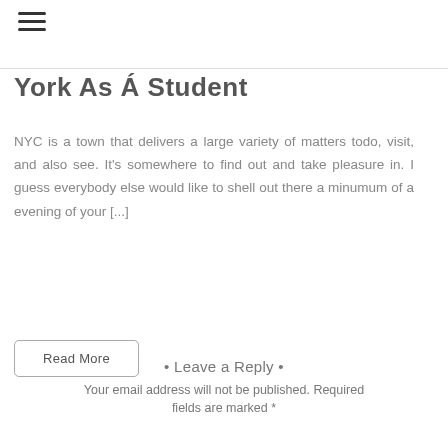York As A Student
NYC is a town that delivers a large variety of matters todo, visit, and also see. It's somewhere to find out and take pleasure in. I guess everybody else would like to shell out there a minumum of a evening of your [...]
Read More
• Leave a Reply •
Your email address will not be published. Required fields are marked *